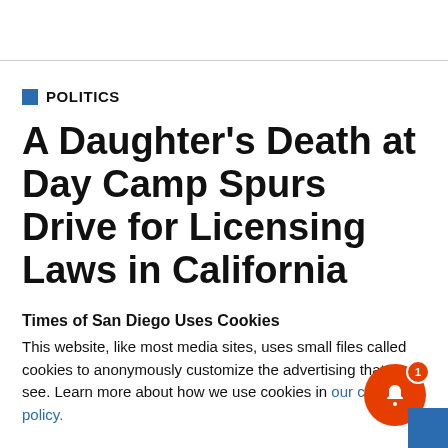POLITICS
A Daughter's Death at Day Camp Spurs Drive for Licensing Laws in California
Times of San Diego Uses Cookies
This website, like most media sites, uses small files called cookies to anonymously customize the advertising that you see. Learn more about how we use cookies in our cookie policy.